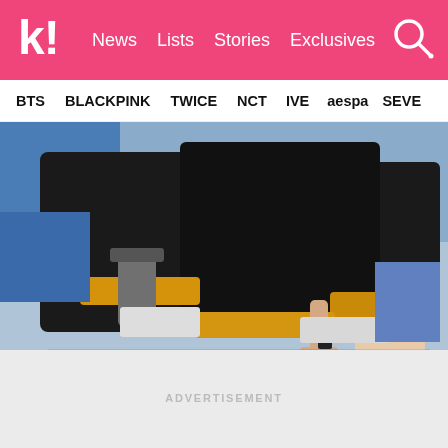k! News Lists Stories Exclusives
BTS BLACKPINK TWICE NCT IVE aespa SEVE
[Figure (photo): People dressed in black seated on yellow/orange benches or equipment, one person extending their hand, appears to be at an airport or event venue]
ADVERTISEMENT
ADVERTISEMENT
To make the prank funnier, he decided to get rid